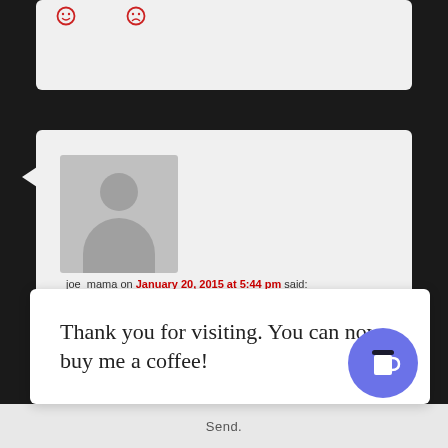[Figure (illustration): Partial top comment box with two red emoji reaction icons (smiley and frowny face)]
joe_mama on January 20, 2015 at 5:44 pm said: Do more tales from the ghetto. It is very fascinating from an anthropological perspective. I grew up somewhat near it, but got away as quick as we could.
[Figure (illustration): Two red outline emoji reaction icons below the comment — a smiley face and a frowny face]
Thank you for visiting. You can now buy me a coffee!
[Figure (illustration): Blue circular coffee cup button (Buy Me a Coffee widget)]
Send.